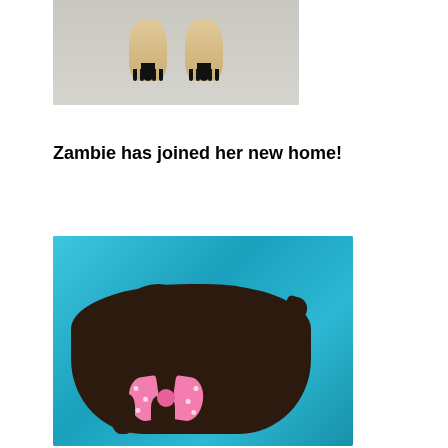[Figure (photo): Close-up photo of dog paws from above, showing tan/cream colored paws with dark black nails on a light gray surface]
Zambie has joined her new home!
[Figure (photo): A dark chocolate brown small dog lying down against a bright blue background, wearing a large pink polka-dot bow around its neck, looking at the camera]